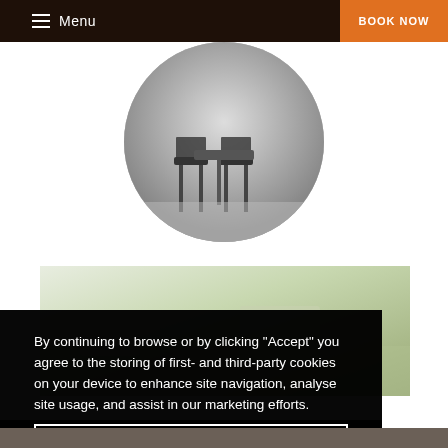Menu | BOOK NOW
[Figure (photo): Circular cropped photo showing outdoor furniture (dark chairs) on a patio/terrace with dappled light]
[Figure (photo): Wide rectangular photo of an outdoor green garden/terrace area]
By continuing to browse or by clicking “Accept” you agree to the storing of first- and third-party cookies on your device to enhance site navigation, analyse site usage, and assist in our marketing efforts.
Read our Cookie Policy
Accept